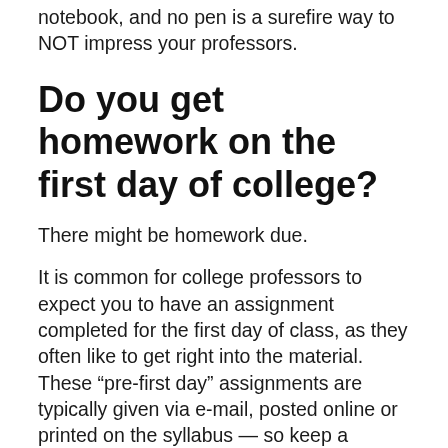notebook, and no pen is a surefire way to NOT impress your professors.
Do you get homework on the first day of college?
There might be homework due.
It is common for college professors to expect you to have an assignment completed for the first day of class, as they often like to get right into the material. These “pre-first day” assignments are typically given via e-mail, posted online or printed on the syllabus — so keep a lookout.
How do you not buy books